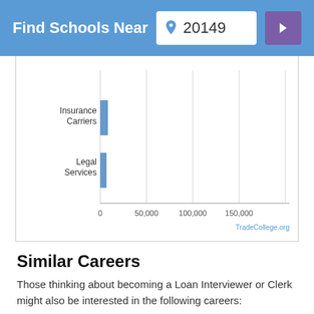Find Schools Near 20149
[Figure (bar-chart): Industries for Loan Interviewer or Clerk]
Similar Careers
Those thinking about becoming a Loan Interviewer or Clerk might also be interested in the following careers: